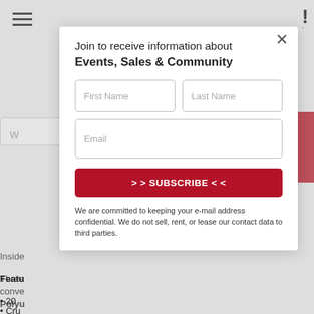[Figure (screenshot): Website modal popup overlay for newsletter subscription. Shows a white modal dialog with close X button, title text 'Join to receive information about Events, Sales & Community', two input fields (First Name, Last Name), an email input field, a dark red Subscribe button labeled '>> SUBSCRIBE <<', and privacy text at bottom. Background shows partial webpage with hamburger menu, search bar, and partially visible article content.]
Join to receive information about
Events, Sales & Community
First Name
Last Name
Email
>> SUBSCRIBE <<
We are committed to keeping your e-mail address confidential. We do not sell, rent, or lease our contact data to third parties.